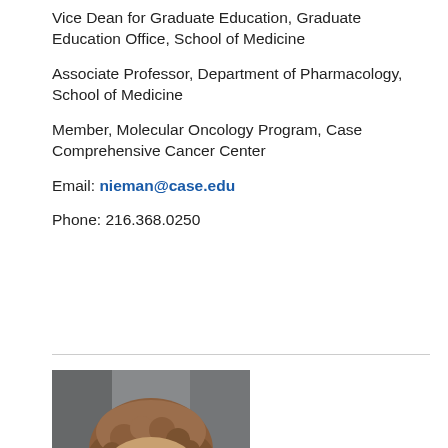Vice Dean for Graduate Education, Graduate Education Office, School of Medicine
Associate Professor, Department of Pharmacology, School of Medicine
Member, Molecular Oncology Program, Case Comprehensive Cancer Center
Email: nieman@case.edu
Phone: 216.368.0250
[Figure (photo): Headshot photo of a woman with curly reddish-brown hair and glasses against a grey background]